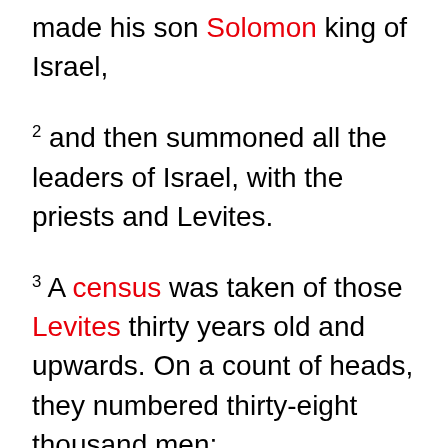made his son Solomon king of Israel,
2 and then summoned all the leaders of Israel, with the priests and Levites.
3 A census was taken of those Levites thirty years old and upwards. On a count of heads, they numbered thirty-eight thousand men;
4 twenty-four thousand were responsible for the service of the House of Yahweh, six thousand were officials and judges,
5 four thousand were gatekeepers and four